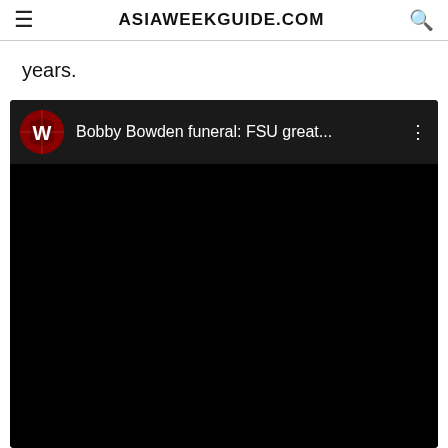ASIAWEEKGUIDE.COM
years.
[Figure (screenshot): Embedded YouTube video thumbnail with black background. Top bar shows a channel logo (red W letter on dark background) and video title 'Bobby Bowden funeral: FSU great...' with a three-dot menu icon.]